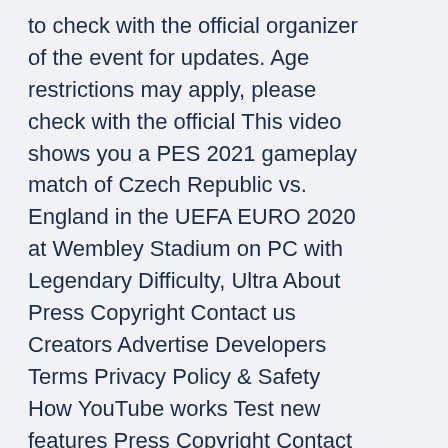to check with the official organizer of the event for updates. Age restrictions may apply, please check with the official This video shows you a PES 2021 gameplay match of Czech Republic vs. England in the UEFA EURO 2020 at Wembley Stadium on PC with Legendary Difficulty, Ultra About Press Copyright Contact us Creators Advertise Developers Terms Privacy Policy & Safety How YouTube works Test new features Press Copyright Contact us Creators 1 hour ago · LIVE Euro 2020: Scotland v Czech Republic The Scots are back at a major international tournament for the first time since 1998 as they face the Czechs at Hampden Park. England suffered a shock 2-1 defeat at the hands of the Czech Republic in a Euro 2020 qualifier in Prague on Friday night.